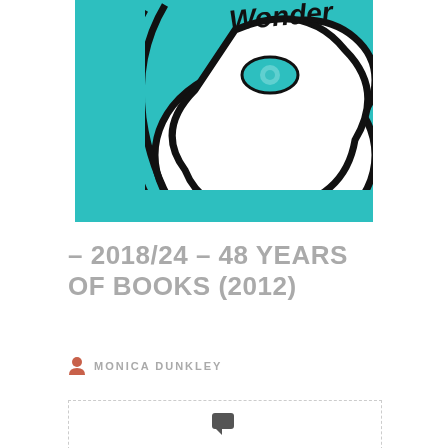[Figure (illustration): Close-up of a book cover showing cartoon-style illustration on a teal/cyan background with a large white cloud-like shape outlined in black, featuring a blue eye and partial text 'Wonder' at the top in black lettering]
– 2018/24 – 48 YEARS OF BOOKS (2012)
MONICA DUNKLEY
[Figure (other): Dashed border comment box with a chat/comment bubble icon in the center]